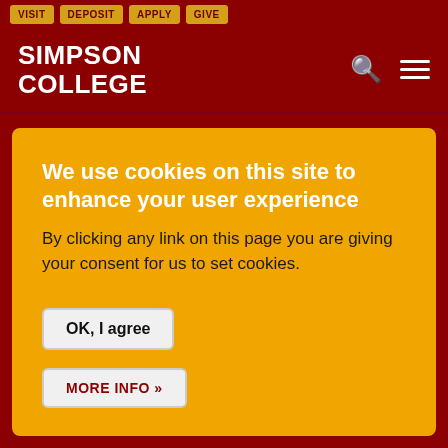VISIT   DEPOSIT   APPLY   GIVE
[Figure (logo): Simpson College logo with white bold text on dark red background, with search and hamburger menu icons]
We use cookies on this site to enhance your user experience
By clicking any link on this page you are giving your consent for us to set cookies.
OK, I agree
MORE INFO »